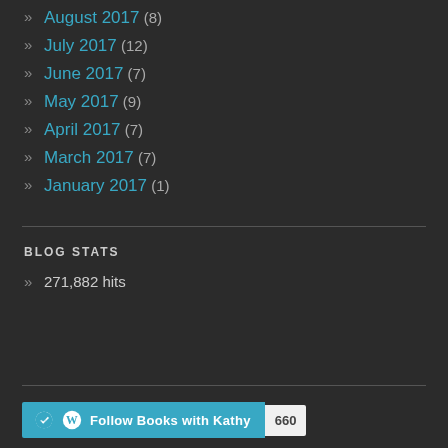August 2017 (8)
July 2017 (12)
June 2017 (7)
May 2017 (9)
April 2017 (7)
March 2017 (7)
January 2017 (1)
BLOG STATS
271,882 hits
Follow Books with Kathy 660